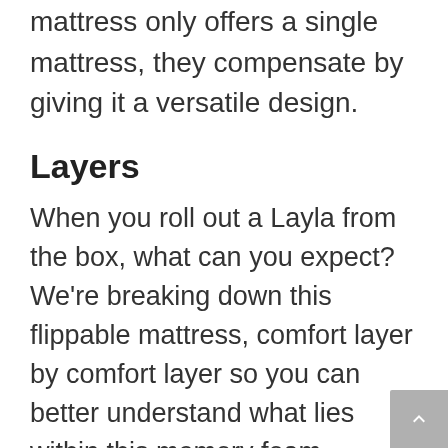mattress only offers a single mattress, they compensate by giving it a versatile design.
Layers
When you roll out a Layla from the box, what can you expect? We're breaking down this flippable mattress, comfort layer by comfort layer so you can better understand what lies within this memory foam mattress.